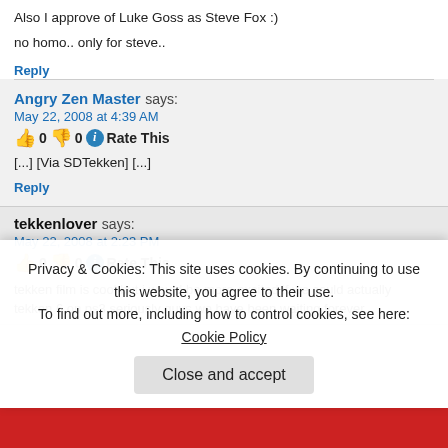Also I approve of Luke Goss as Steve Fox :)
no homo.. only for steve..
Reply
Angry Zen Master says: May 22, 2008 at 4:39 AM
[...] [Via SDTekken] [...]
Reply
tekkenlover says: May 22, 2008 at 2:23 PM
tekken film is cool but i would be more excited if we could actually tekken 6 on ps3 seriously guys we have been waiting forever...
Privacy & Cookies: This site uses cookies. By continuing to use this website, you agree to their use. To find out more, including how to control cookies, see here: Cookie Policy
Close and accept